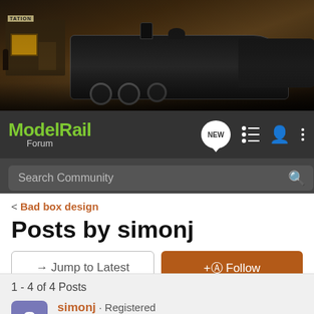[Figure (photo): Banner photo of a model railway scene with a steam locomotive and station building]
ModelRail Forum — navigation bar with NEW, list, user, and more icons; Search Community search bar
< Bad box design
Posts by simonj
→ Jump to Latest   ⊕ Follow
1 - 4 of 4 Posts
simonj · Registered
Joined Sep 9, 2007 · 305 Posts